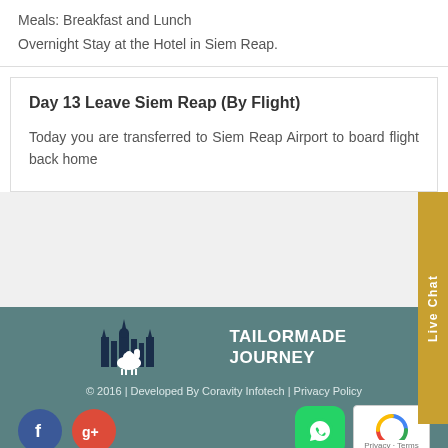Meals: Breakfast and Lunch
Overnight Stay at the Hotel in Siem Reap.
Day 13 Leave Siem Reap (By Flight)
Today you are transferred to Siem Reap Airport to board flight back home
[Figure (logo): Tailormade Journey logo with camel and building silhouette]
© 2016 | Developed By Coravity Infotech | Privacy Policy